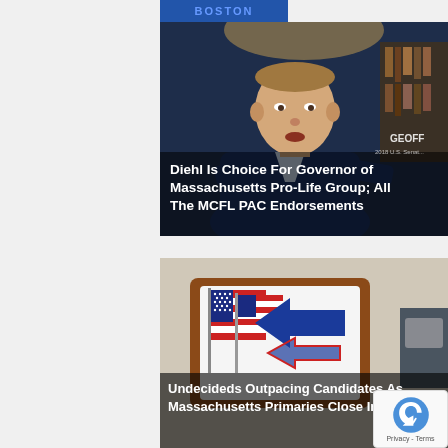BOSTON
[Figure (photo): Man in blue suit speaking, with text overlay: 'Diehl Is Choice For Governor of Massachusetts Pro-Life Group; All The MCFL PAC Endorsements'. Watermark: 'GEOFF']
[Figure (photo): American flags and blue directional arrow sign, with text overlay: 'Undecideds Outpacing Candidates As Massachusetts Primaries Close In']